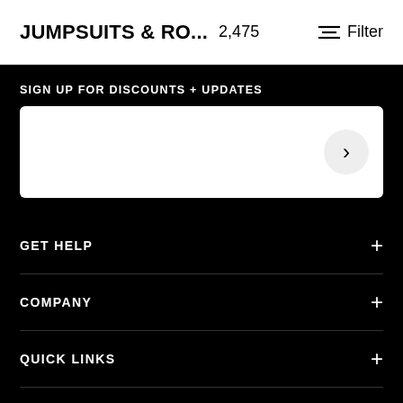JUMPSUITS & RO... 2,475
Filter
SIGN UP FOR DISCOUNTS + UPDATES
GET HELP
COMPANY
QUICK LINKS
LEGAL